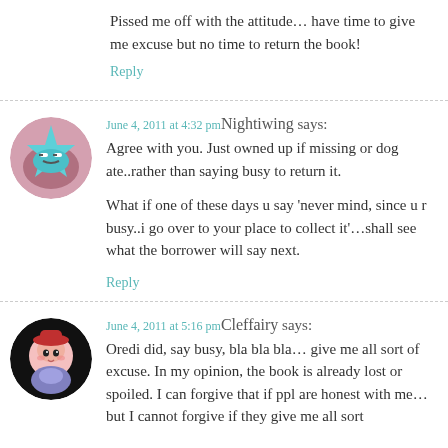Pissed me off with the attitude… have time to give me excuse but no time to return the book!
Reply
June 4, 2011 at 4:32 pm Nightiwing says:
Agree with you. Just owned up if missing or dog ate..rather than saying busy to return it.

What if one of these days u say 'never mind, since u r busy..i go over to your place to collect it'…shall see what the borrower will say next.
Reply
June 4, 2011 at 5:16 pm Cleffairy says:
Oredi did, say busy, bla bla bla… give me all sort of excuse. In my opinion, the book is already lost or spoiled. I can forgive that if ppl are honest with me… but I cannot forgive if they give me all sort